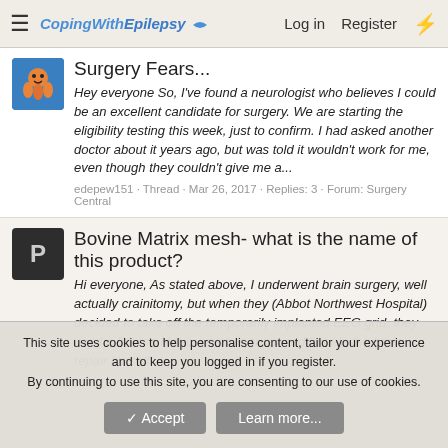CopingWithEpilepsy | Log in | Register
Surgery Fears...
Hey everyone So, I've found a neurologist who believes I could be an excellent candidate for surgery. We are starting the eligibility testing this week, just to confirm. I had asked another doctor about it years ago, but was told it wouldn't work for me, even though they couldn't give me a...
edepew151 · Thread · Mar 26, 2017 · Replies: 3 · Forum: Surgery Central
Bovine Matrix mesh- what is the name of this product?
Hi everyone, As stated above, I underwent brain surgery, well actually crainitomy, but when they (Abbot Northwest Hospital) decided to take off the temporarily implanted EEG grid, they used a Bovine Matrix which is supposed to help the brain repair it's self
This site uses cookies to help personalise content, tailor your experience and to keep you logged in if you register.
By continuing to use this site, you are consenting to our use of cookies.